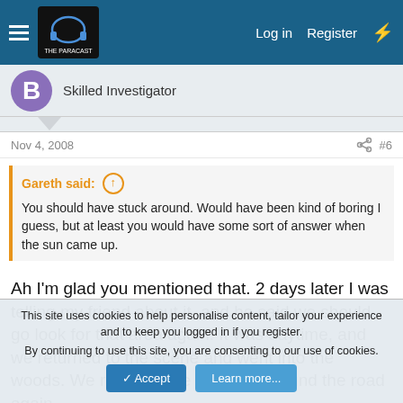Log in  Register
Skilled Investigator
Nov 4, 2008   #6
Gareth said: You should have stuck around. Would have been kind of boring I guess, but at least you would have some sort of answer when the sun came up.
Ah I'm glad you mentioned that. 2 days later I was telling my friend about it, and he said we should go look for that area again. It was daytime, and we returned to the scene and went into the woods. We retraced the steps and found the road again.
This site uses cookies to help personalise content, tailor your experience and to keep you logged in if you register.
By continuing to use this site, you are consenting to our use of cookies.